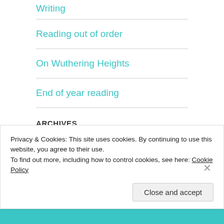Writing
Reading out of order
On Wuthering Heights
End of year reading
ARCHIVES
Select Month
Privacy & Cookies: This site uses cookies. By continuing to use this website, you agree to their use.
To find out more, including how to control cookies, see here: Cookie Policy
Close and accept